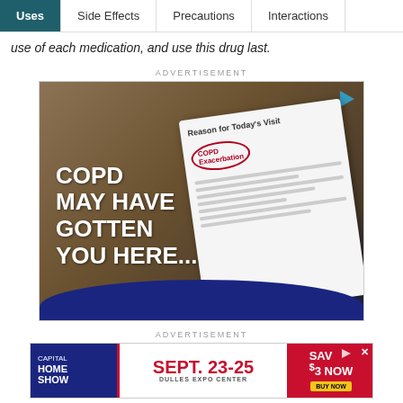Uses | Side Effects | Precautions | Interactions
use of each medication, and use this drug last.
ADVERTISEMENT
[Figure (photo): COPD advertisement showing a person holding a medical document with text 'Reason for Today's Visit: COPD Exacerbation'. Bold white text reads 'COPD MAY HAVE GOTTEN YOU HERE...' on a dark background with a blue curved bottom.]
ADVERTISEMENT
[Figure (photo): Capital Home Show advertisement. SEPT. 23-25, DULLES EXPO CENTER. SAVE $3 NOW, BUY NOW.]